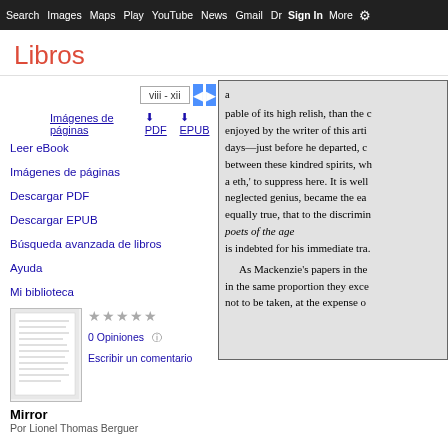Search  Images  Maps  Play  YouTube  News  Gmail  Drive  More  Sign in  Settings
Libros
Leer eBook
Imágenes de páginas
Descargar PDF
Descargar EPUB
Búsqueda avanzada de libros
Ayuda
Mi biblioteca
0 Opiniones
Escribir un comentario
Mirror
Por Lionel Thomas Berguer
viii - xii
Imágenes de páginas   ⬇ PDF   ⬇ EPUB
[Figure (screenshot): Partial book page preview showing text about 'high relish', 'neglected genius', 'poets of the age', 'Mackenzie's papers' with grey background]
a
pable of its high relish, than the c
enjoyed by the writer of this arti
days—just before he departed, c
between these kindred spirits, wh
a eth,' to suppress here. It is well
neglected genius, became the ea
equally true, that to the discrimin
poets of the age
is indebted for his immediate tra.
 As Mackenzie's papers in the
in the same proportion they exce
not to be taken, at the expense o